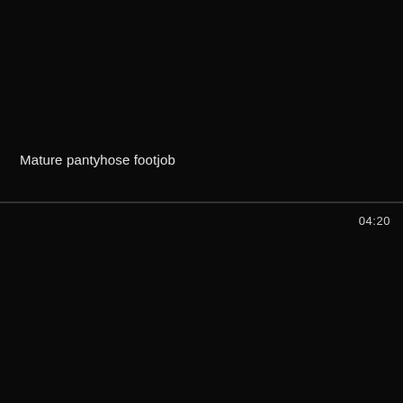[Figure (screenshot): Black video thumbnail panel, top half]
Mature pantyhose footjob
[Figure (screenshot): Black video thumbnail panel, bottom half with duration badge]
04:20